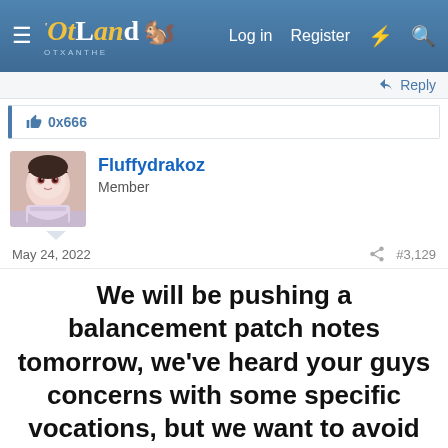OtLand — Log in | Register
Reply
0x666
Fluffydrakoz
Member
May 24, 2022  #3,129
We will be pushing a balancement patch notes tomorrow, we've heard your guys concerns with some specific vocations, but we want to avoid pushing changes to only a couple vocations each day. We feel like its more fair to push changes to